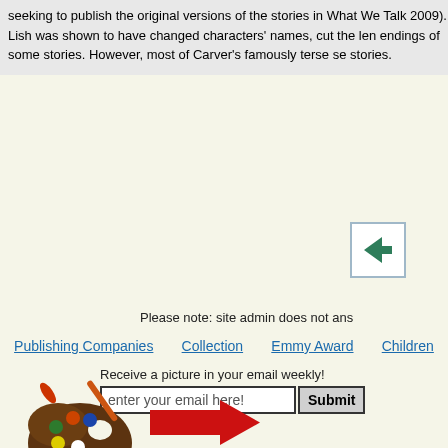seeking to publish the original versions of the stories in What We Talk 2009). Lish was shown to have changed characters' names, cut the len endings of some stories. However, most of Carver's famously terse se stories.
[Figure (illustration): Back navigation button with left-pointing green arrow inside a blue-bordered white square]
Please note: site admin does not ans
Publishing Companies   Collection   Emmy Award   Children
Receive a picture in your email weekly!
[Figure (illustration): Red right-pointing arrow]
[Figure (illustration): Artist's paint palette with brushes icon]
Get a Picture
in your email every week!